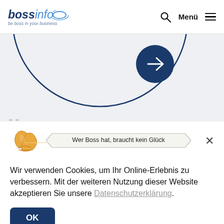[Figure (logo): bossinfo logo with tagline 'be boss in your business' and blue orbit arc graphic]
Menü
[Figure (illustration): Hero section with partial blue circle arc and dark blue arrow button on light grey background]
[Figure (illustration): Fortune cookie illustration with banner reading 'Wer Boss hat, braucht kein Glück']
Wir verwenden Cookies, um Ihr Online-Erlebnis zu verbessern. Mit der weiteren Nutzung dieser Website akzeptieren Sie unsere Datenschutzerklärung.
OK